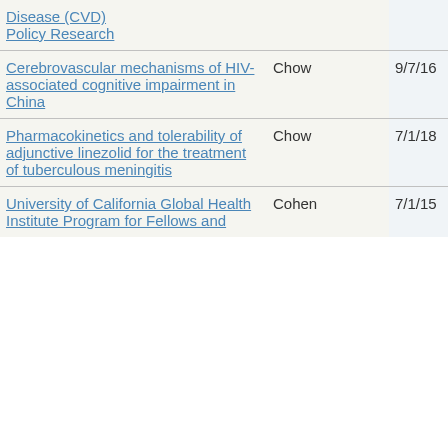| Title | PI | Start | End |
| --- | --- | --- | --- |
| Disease (CVD) Policy Research |  |  |  |
| Cerebrovascular mechanisms of HIV-associated cognitive impairment in China | Chow | 9/7/16 | 8/31/20 |
| Pharmacokinetics and tolerability of adjunctive linezolid for the treatment of tuberculous meningitis | Chow | 7/1/18 | 4/30/20 |
| University of California Global Health Institute Program for Fellows and | Cohen | 7/1/15 | 6/30/17 |